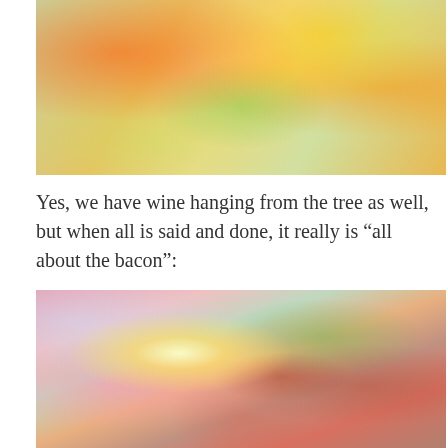[Figure (photo): Close-up photo of colorful Christmas tree lights and decorations with iridescent, sparkling lights in green, red, orange, and gold tones.]
Yes, we have wine hanging from the tree as well, but when all is said and done, it really is “all about the bacon”:
[Figure (photo): Photo of a burger-shaped Christmas ornament hanging on a white Christmas tree, illuminated by colorful lights. The ornament shows a detailed burger with lettuce, tomato, and patty layers, with a bright light glowing from the top.]